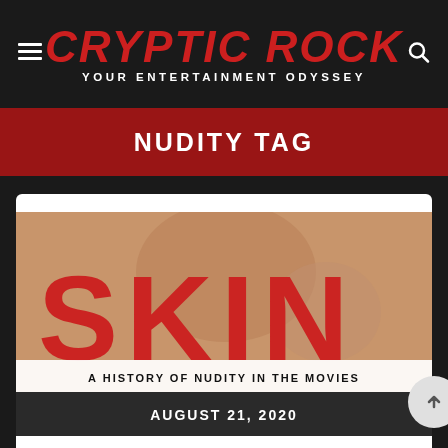CRYPTIC ROCK
YOUR ENTERTAINMENT ODYSSEY
NUDITY TAG
[Figure (photo): Movie poster for SKIN: A HISTORY OF NUDITY IN THE MOVIES showing large red letters spelling SKIN over a photograph, with subtitle text below]
AUGUST 21, 2020
SKIN: A HISTORY OF NUDITY IN THE MOVIES (DOCUMENTARY REVIEW)